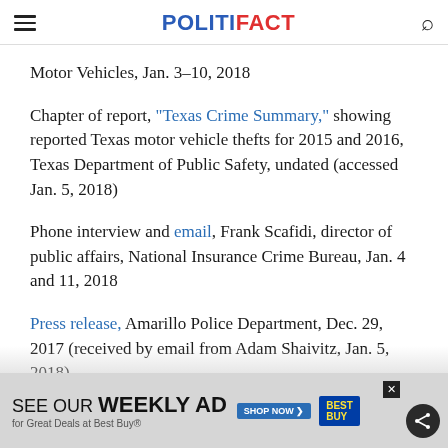POLITIFACT
Motor Vehicles, Jan. 3-10, 2018
Chapter of report, "Texas Crime Summary," showing reported Texas motor vehicle thefts for 2015 and 2016, Texas Department of Public Safety, undated (accessed Jan. 5, 2018)
Phone interview and email, Frank Scafidi, director of public affairs, National Insurance Crime Bureau, Jan. 4 and 11, 2018
Press release, Amarillo Police Department, Dec. 29, 2017 (received by email from Adam Shaivitz, Jan. 5, 2018)
Revi... Prev... [partially visible text]